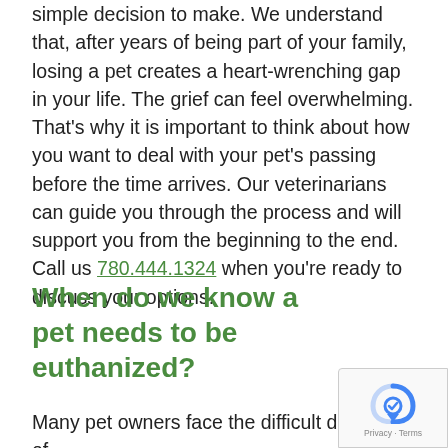simple decision to make. We understand that, after years of being part of your family, losing a pet creates a heart-wrenching gap in your life. The grief can feel overwhelming. That's why it is important to think about how you want to deal with your pet's passing before the time arrives. Our veterinarians can guide you through the process and will support you from the beginning to the end. Call us 780.444.1324 when you're ready to discuss your options.
When do we know a pet needs to be euthanized?
Many pet owners face the difficult decision of